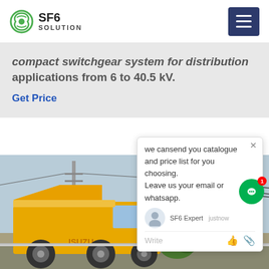SF6 SOLUTION
compact switchgear system for distribution applications from 6 to 40.5 kV.
Get Price
[Figure (photo): Yellow Isuzu truck parked near an electrical substation with high-voltage transmission towers and equipment in the background]
we cansend you catalogue and price list for you choosing. Leave us your email or whatsapp.
SF6 Expert  justnow
Write